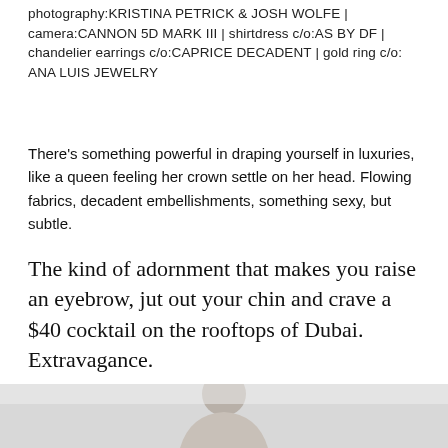photography:KRISTINA PETRICK & JOSH WOLFE | camera:CANNON 5D MARK III | shirtdress c/o:AS BY DF | chandelier earrings c/o:CAPRICE DECADENT | gold ring c/o: ANA LUIS JEWELRY
There's something powerful in draping yourself in luxuries, like a queen feeling her crown settle on her head. Flowing fabrics, decadent embellishments, something sexy, but subtle.
The kind of adornment that makes you raise an eyebrow, jut out your chin and crave a $40 cocktail on the rooftops of Dubai. Extravagance.
[Figure (photo): Bottom portion of a photo showing a person, cropped at the top of the page bottom]